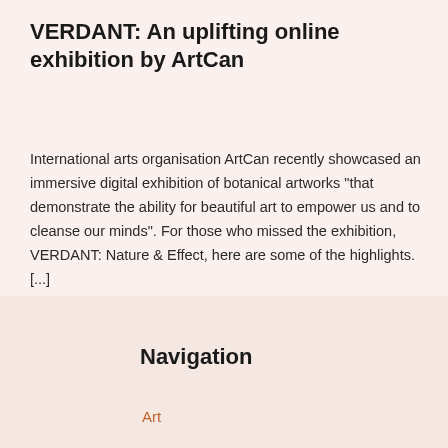VERDANT: An uplifting online exhibition by ArtCan
International arts organisation ArtCan recently showcased an immersive digital exhibition of botanical artworks "that demonstrate the ability for beautiful art to empower us and to cleanse our minds". For those who missed the exhibition, VERDANT: Nature & Effect, here are some of the highlights.  [...]
Navigation
Art